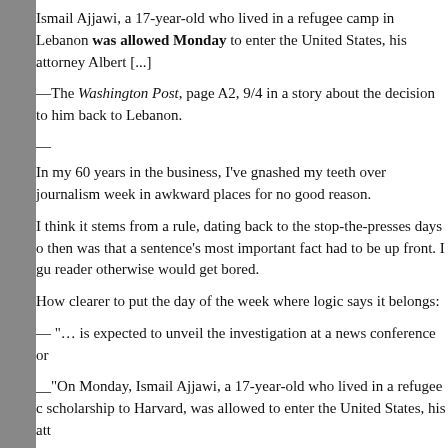Ismail Ajjawi, a 17-year-old who lived in a refugee camp in Lebanon was allowed Monday to enter the United States, his attorney Albert [...]
—The Washington Post, page A2, 9/4 in a story about the decision to him back to Lebanon.
—
In my 60 years in the business, I've gnashed my teeth over journalism week in awkward places for no good reason.
I think it stems from a rule, dating back to the stop-the-presses days o then was that a sentence's most important fact had to be up front. I gu reader otherwise would get bored.
How clearer to put the day of the week where logic says it belongs:
— "… is expected to unveil the investigation at a news conference on
__"On Monday, Ismail Ajjawi, a 17-year-old who lived in a refugee c scholarship to Harvard, was allowed to enter the United States, his att
The only other explanation for the clumsy "was allowed Monday" st when something happened lest the reader think he was reading old ne
Neither custom makes sense. Both make for awkward writing and pu